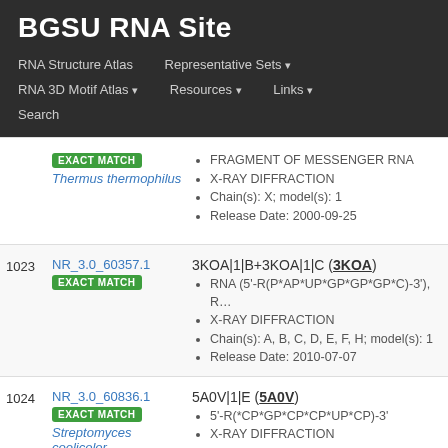BGSU RNA Site
RNA Structure Atlas | Representative Sets | RNA 3D Motif Atlas | Resources | Links | Search
| # | ID | Details |
| --- | --- | --- |
|  | NR_3.0_... EXACT MATCH Thermus thermophilus | FRAGMENT OF MESSENGER RNA • X-RAY DIFFRACTION • Chain(s): X; model(s): 1 • Release Date: 2000-09-25 |
| 1023 | NR_3.0_60357.1 EXACT MATCH | 3KOA|1|B+3KOA|1|C (3KOA) • RNA (5'-R(P*AP*UP*GP*GP*GP*C)-3'), • X-RAY DIFFRACTION • Chain(s): A, B, C, D, E, F, H; model(s): 1 • Release Date: 2010-07-07 |
| 1024 | NR_3.0_60836.1 EXACT MATCH Streptomyces coelicolor | 5A0V|1|E (5A0V) • 5'-R(*CP*GP*CP*CP*UP*CP)-3' • X-RAY DIFFRACTION • Chain(s): E; model(s): 1 |